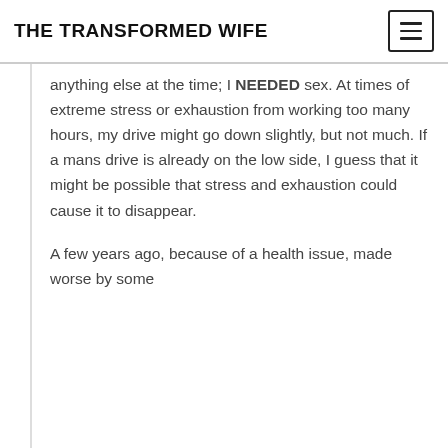THE TRANSFORMED WIFE
anything else at the time; I NEEDED sex. At times of extreme stress or exhaustion from working too many hours, my drive might go down slightly, but not much. If a mans drive is already on the low side, I guess that it might be possible that stress and exhaustion could cause it to disappear.
A few years ago, because of a health issue, made worse by some